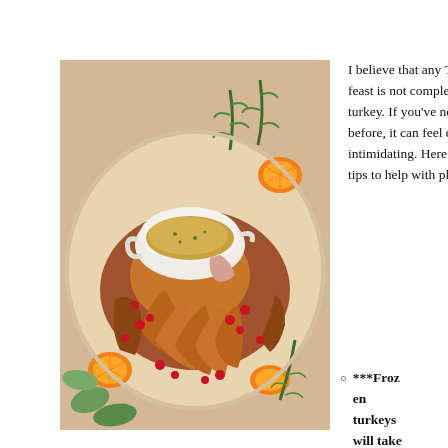[Figure (photo): A roasted Thanksgiving turkey on a platter, garnished with pomegranate seeds, orange slices, and fresh rosemary/herbs. A white gravy boat filled with golden brown gravy is placed on top of the turkey. The platter also has green leafy garnishes.]
I believe that any Thanksgiving feast is not complete without a turkey. If you've never cooked one before, it can feel quite intimidating. Here are a few quick tips to help with planning:
***Frozen turkeys will take 24 hours